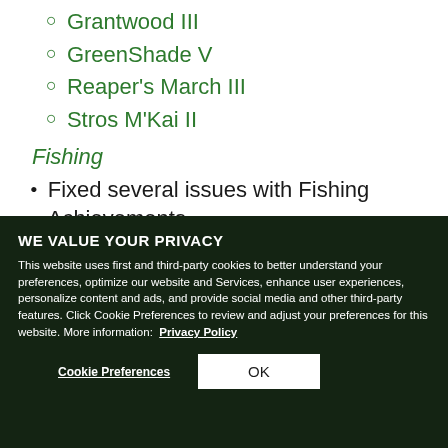Grantwood III
GreenShade V
Reaper's March III
Stros M'Kai II
Fishing
Fixed several issues with Fishing Achievements,
WE VALUE YOUR PRIVACY
This website uses first and third-party cookies to better understand your preferences, optimize our website and Services, enhance user experiences, personalize content and ads, and provide social media and other third-party features. Click Cookie Preferences to review and adjust your preferences for this website. More information: Privacy Policy
Cookie Preferences
OK